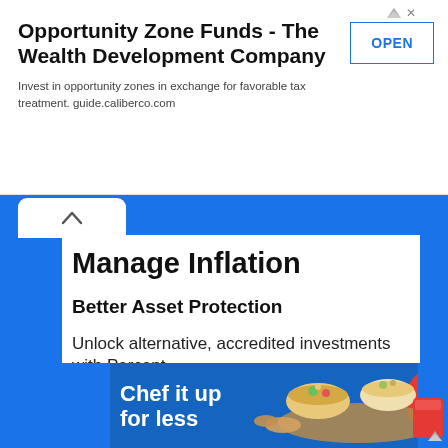[Figure (screenshot): Advertisement banner for Opportunity Zone Funds - The Wealth Development Company with OPEN button]
Opportunity Zone Funds - The Wealth Development Company
Invest in opportunity zones in exchange for favorable tax treatment. guide.caliberco.com
Manage Inflation
Better Asset Protection
Unlock alternative, accredited investments with Percent
percent.com
[Figure (screenshot): Advertisement banner: Chef it up for less with food imagery on blue background]